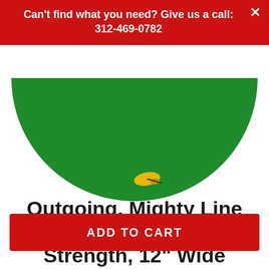Can't find what you need? Give us a call: 312-469-0782
[Figure (photo): Partial view of a round green floor sign (bottom half of circle visible), with a small yellow graphic near the bottom center of the green disc, against a white background.]
Outgoing, Mighty Line Floor Sign, Industrial Strength, 12" Wide
ADD TO CART